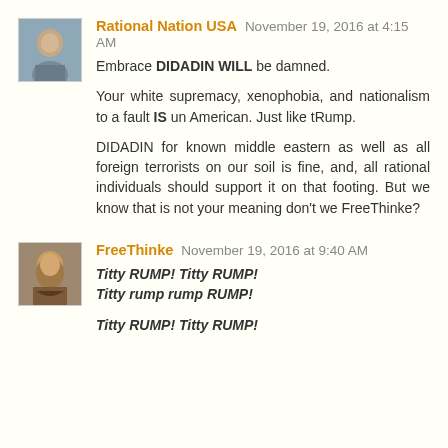Rational Nation USA November 19, 2016 at 4:15 AM
Embrace DIDADIN WILL be damned.
Your white supremacy, xenophobia, and nationalism to a fault IS un American. Just like tRump.
DIDADIN for known middle eastern as well as all foreign terrorists on our soil is fine, and, all rational individuals should support it on that footing. But we know that is not your meaning don't we FreeThinke?
FreeThinke November 19, 2016 at 9:40 AM
Titty RUMP! Titty RUMP!
Titty rump rump RUMP!

Titty RUMP! Titty RUMP!